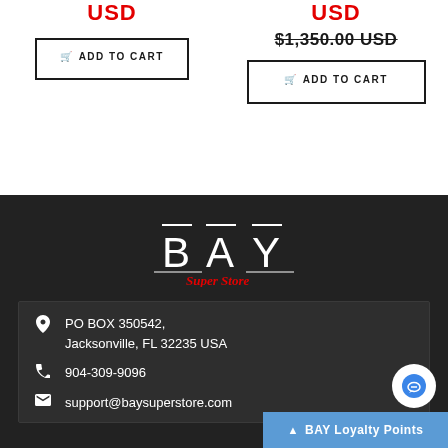USD
ADD TO CART
USD
$1,350.00 USD
ADD TO CART
[Figure (logo): BAY Super Store logo in white text on dark background]
PO BOX 350542, Jacksonville, FL 32235 USA
904-309-9096
support@baysuperstore.com
BAY Loyalty Points